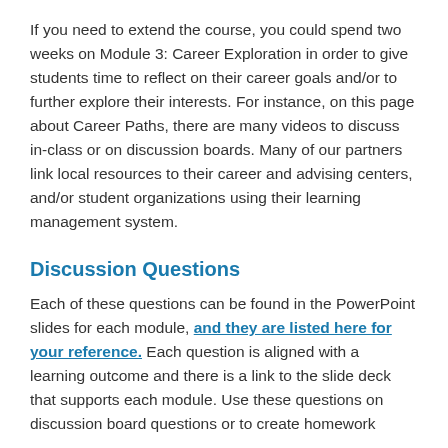If you need to extend the course, you could spend two weeks on Module 3: Career Exploration in order to give students time to reflect on their career goals and/or to further explore their interests. For instance, on this page about Career Paths, there are many videos to discuss in-class or on discussion boards. Many of our partners link local resources to their career and advising centers, and/or student organizations using their learning management system.
Discussion Questions
Each of these questions can be found in the PowerPoint slides for each module, and they are listed here for your reference. Each question is aligned with a learning outcome and there is a link to the slide deck that supports each module. Use these questions on discussion board questions or to create homework